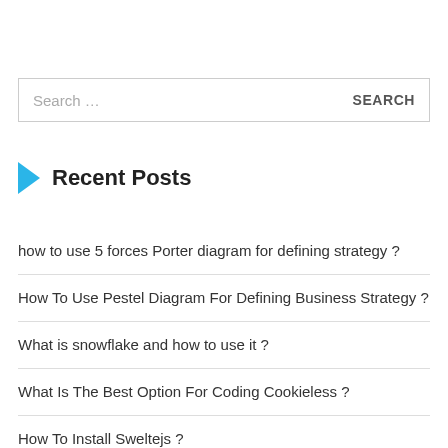Search …
Recent Posts
how to use 5 forces Porter diagram for defining strategy ?
How To Use Pestel Diagram For Defining Business Strategy ?
What is snowflake and how to use it ?
What Is The Best Option For Coding Cookieless ?
How To Install Sweltejs ?